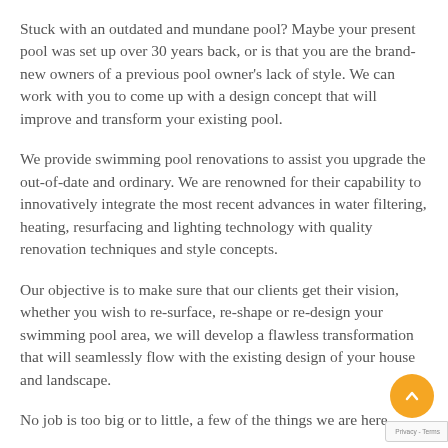Stuck with an outdated and mundane pool? Maybe your present pool was set up over 30 years back, or is that you are the brand-new owners of a previous pool owner's lack of style. We can work with you to come up with a design concept that will improve and transform your existing pool.
We provide swimming pool renovations to assist you upgrade the out-of-date and ordinary. We are renowned for their capability to innovatively integrate the most recent advances in water filtering, heating, resurfacing and lighting technology with quality renovation techniques and style concepts.
Our objective is to make sure that our clients get their vision, whether you wish to re-surface, re-shape or re-design your swimming pool area, we will develop a flawless transformation that will seamlessly flow with the existing design of your house and landscape.
No job is too big or to little, a few of the things we are here